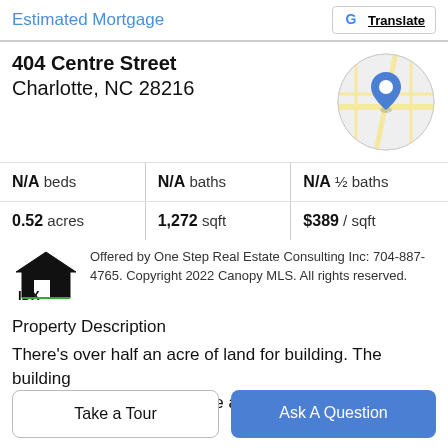Estimated Mortgage
[Figure (logo): Google Translate button with G logo]
404 Centre Street
Charlotte, NC 28216
[Figure (map): Circular map snippet showing location pin for 404 Centre Street, Charlotte NC]
| Beds | Baths | ½ Baths |
| --- | --- | --- |
| N/A beds | N/A baths | N/A ½ baths |
| 0.52 acres | 1,272 sqft | $389 / sqft |
[Figure (logo): IDX house logo]
Offered by One Step Real Estate Consulting Inc: 704-887-4765. Copyright 2022 Canopy MLS. All rights reserved.
Property Description
There's over half an acre of land for building. The building is close to Uptown Charlotte and it is on the large corner